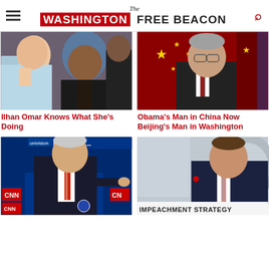The Washington Free Beacon
[Figure (photo): Ilhan Omar wearing a blue headscarf, with Nancy Pelosi visible beside her]
Ilhan Omar Knows What She's Doing
[Figure (photo): A man in a suit standing in front of Chinese flags]
Obama's Man in China Now Beijing's Man in Washington
[Figure (photo): Joe Biden at a CNN debate podium pointing, with Univision banner visible]
[Figure (screenshot): Man in suit speaking on TV with IMPEACHMENT STRATEGY chyron at bottom]